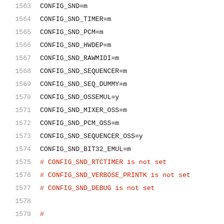1563    CONFIG_SND=m
1564    CONFIG_SND_TIMER=m
1565    CONFIG_SND_PCM=m
1566    CONFIG_SND_HWDEP=m
1567    CONFIG_SND_RAWMIDI=m
1568    CONFIG_SND_SEQUENCER=m
1569    CONFIG_SND_SEQ_DUMMY=m
1570    CONFIG_SND_OSSEMUL=y
1571    CONFIG_SND_MIXER_OSS=m
1572    CONFIG_SND_PCM_OSS=m
1573    CONFIG_SND_SEQUENCER_OSS=y
1574    CONFIG_SND_BIT32_EMUL=m
1575    # CONFIG_SND_RTCTIMER is not set
1576    # CONFIG_SND_VERBOSE_PRINTK is not set
1577    # CONFIG_SND_DEBUG is not set
1578
1579    #
1580    # Generic devices
1581    #
1582    CONFIG_SND_MPU401_UART=m
1583    CONFIG_SND_OPL3_LIB=m
1584    CONFIG_SND_VX_LIB=m